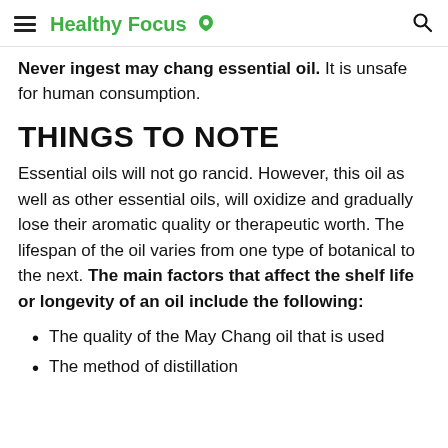Healthy Focus
Never ingest may chang essential oil. It is unsafe for human consumption.
THINGS TO NOTE
Essential oils will not go rancid. However, this oil as well as other essential oils, will oxidize and gradually lose their aromatic quality or therapeutic worth. The lifespan of the oil varies from one type of botanical to the next. The main factors that affect the shelf life or longevity of an oil include the following:
The quality of the May Chang oil that is used
The method of distillation